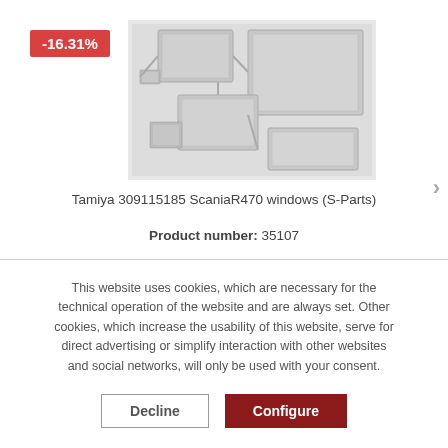[Figure (photo): Product photo of Tamiya 309115185 ScaniaR470 windows (S-Parts) — plastic window parts laid out on a white background]
-16.31%
Tamiya 309115185 ScaniaR470 windows (S-Parts)
Product number: 35107
This website uses cookies, which are necessary for the technical operation of the website and are always set. Other cookies, which increase the usability of this website, serve for direct advertising or simplify interaction with other websites and social networks, will only be used with your consent.
Decline
Configure